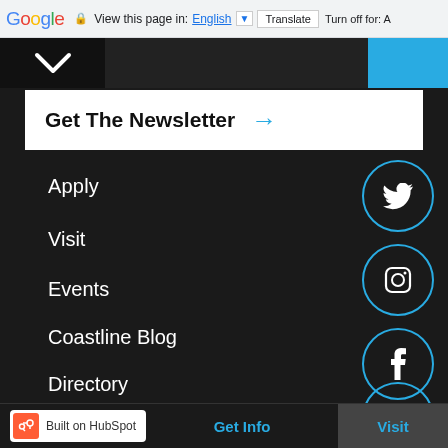Google — View this page in: English ▼  Translate  Turn off for: A
[Figure (screenshot): Dark navigation strip with chevron down icon and blue button on the right]
Get The Newsletter →
Apply
Visit
Events
Coastline Blog
Directory
Campus Safety
Library
[Figure (illustration): Social media icons: Twitter, Instagram, Facebook, LinkedIn — white icons in teal-outlined circles on dark background]
Built on HubSpot   Get Info   Visit